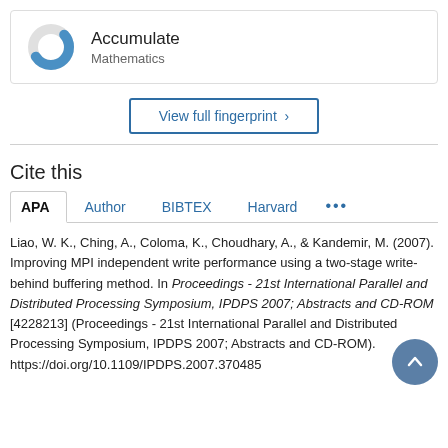[Figure (donut-chart): Donut chart icon for Accumulate Mathematics fingerprint concept]
Accumulate
Mathematics
View full fingerprint >
Cite this
APA  Author  BIBTEX  Harvard  ...
Liao, W. K., Ching, A., Coloma, K., Choudhary, A., & Kandemir, M. (2007). Improving MPI independent write performance using a two-stage write-behind buffering method. In Proceedings - 21st International Parallel and Distributed Processing Symposium, IPDPS 2007; Abstracts and CD-ROM [4228213] (Proceedings - 21st International Parallel and Distributed Processing Symposium, IPDPS 2007; Abstracts and CD-ROM). https://doi.org/10.1109/IPDPS.2007.370485